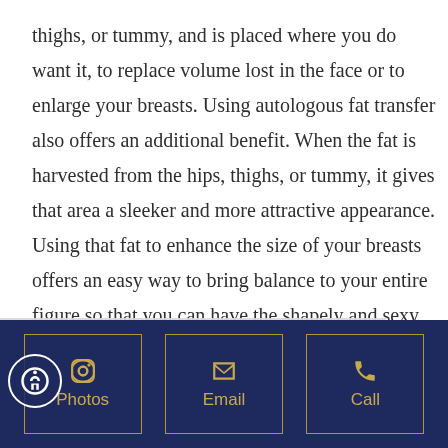thighs, or tummy, and is placed where you do want it, to replace volume lost in the face or to enlarge your breasts. Using autologous fat transfer also offers an additional benefit. When the fat is harvested from the hips, thighs, or tummy, it gives that area a sleeker and more attractive appearance. Using that fat to enhance the size of your breasts offers an easy way to bring balance to your entire figure so that you can have the shapely and sexy body you have always wanted.
This site uses cookies to make the site simpler. Further information is provided in our Privacy Policy
Photos | Email | Call